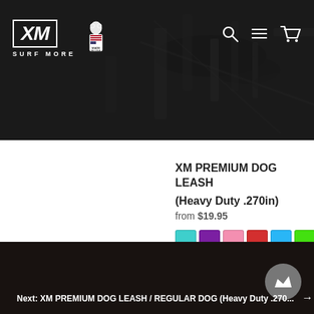XM SURF MORE — website header with logo and navigation icons
XM PREMIUM DOG LEASH (Heavy Duty .270in)
from $19.95
[Figure (other): Color swatches: teal, purple, pink, red, blue, green, orange, olive/green]
Next: XM PREMIUM DOG LEASH / REGULAR DOG (Heavy Duty .270...